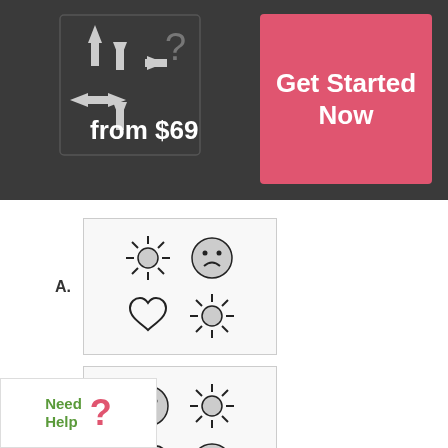[Figure (infographic): Dark header bar with arrows/puzzle icons and price text 'from $69', and a pink 'Get Started Now' button on the right]
A. [Option box with sun + sad face top row, heart + sun bottom row]
B. [Option box with smiley + sun top row, heart + smiley bottom row]
C. [Option box with sun + smiley top row, heart (grey) + smiley bottom row]
Need Help ?